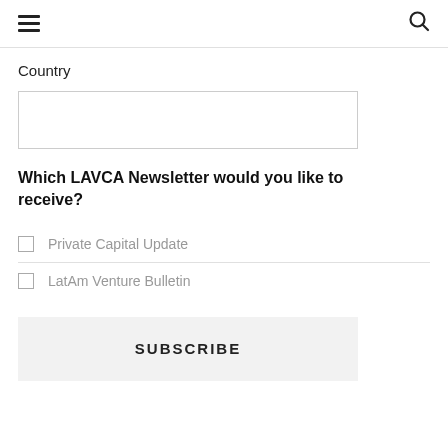☰  🔍
Country
Which LAVCA Newsletter would you like to receive?
Private Capital Update
LatAm Venture Bulletin
SUBSCRIBE